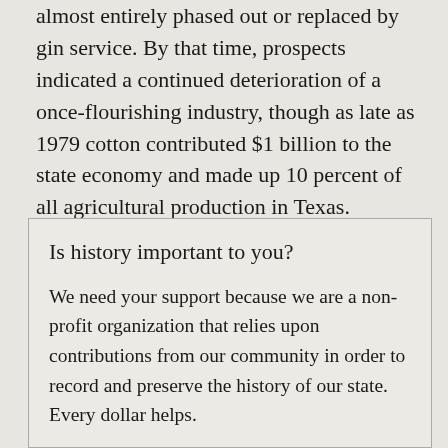almost entirely phased out or replaced by gin service. By that time, prospects indicated a continued deterioration of a once-flourishing industry, though as late as 1979 cotton contributed $1 billion to the state economy and made up 10 percent of all agricultural production in Texas.
Is history important to you?
We need your support because we are a non-profit organization that relies upon contributions from our community in order to record and preserve the history of our state. Every dollar helps.